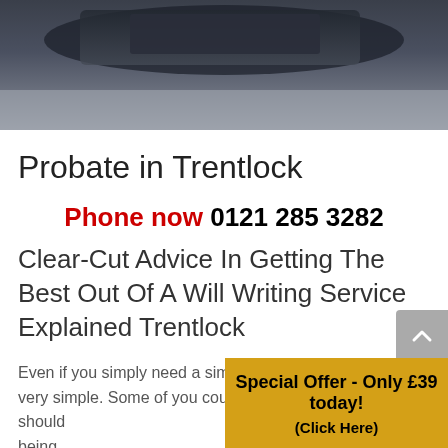[Figure (photo): Dark blurred photo of desk/computer area, used as hero banner at top of page]
Probate in Trentlock
Phone now 0121 285 3282
Clear-Cut Advice In Getting The Best Out Of A Will Writing Service Explained Trentlock
Even if you simply need a simple draft, writing a will isn't very simple. Some of you could actually... should... being...
Special Offer - Only £39 today! (Click Here)